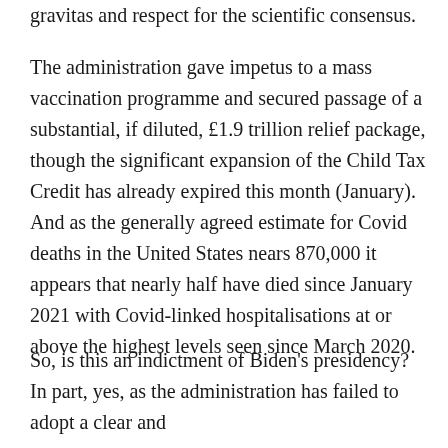gravitas and respect for the scientific consensus.
The administration gave impetus to a mass vaccination programme and secured passage of a substantial, if diluted, £1.9 trillion relief package, though the significant expansion of the Child Tax Credit has already expired this month (January). And as the generally agreed estimate for Covid deaths in the United States nears 870,000 it appears that nearly half have died since January 2021 with Covid-linked hospitalisations at or above the highest levels seen since March 2020.
So, is this an indictment of Biden's presidency? In part, yes, as the administration has failed to adopt a clear and